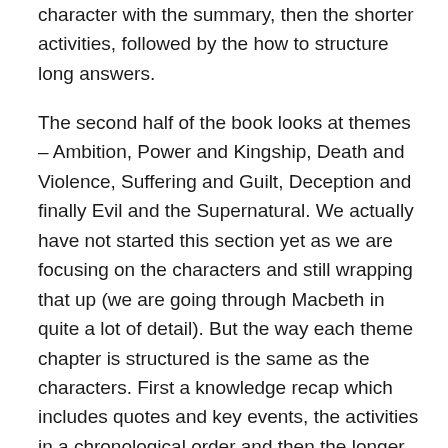character with the summary, then the shorter activities, followed by the how to structure long answers.
The second half of the book looks at themes – Ambition, Power and Kingship, Death and Violence, Suffering and Guilt, Deception and finally Evil and the Supernatural. We actually have not started this section yet as we are focusing on the characters and still wrapping that up (we are going through Macbeth in quite a lot of detail). But the way each theme chapter is structured is the same as the characters. First a knowledge recap which includes quotes and key events, the activities in a chronological order and then the longer exam-type practice questions which again are split into three – the writing with support, and example of a student's answer and try it yourself question. The exact same format as the character section and after reading through the activities and questions it is just as